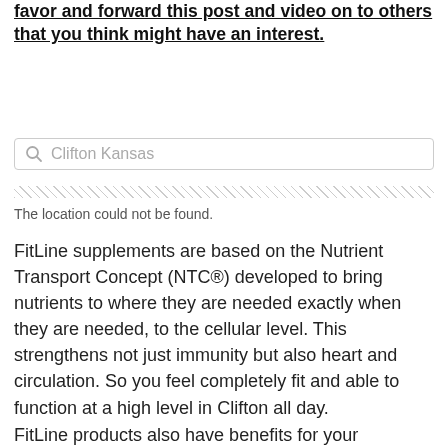favor and forward this post and video on to others that you think might have an interest.
[Figure (other): Search bar with placeholder text 'Clifton Kansas']
[Figure (other): Hatched/diagonal striped decorative bar]
The location could not be found.
FitLine supplements are based on the Nutrient Transport Concept (NTC®) developed to bring nutrients to where they are needed exactly when they are needed, to the cellular level. This strengthens not just immunity but also heart and circulation. So you feel completely fit and able to function at a high level in Clifton all day.
FitLine products also have benefits for your